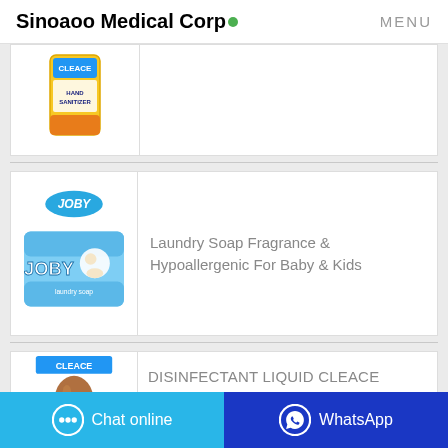Sinoaoo Medical Corp• MENU
[Figure (photo): Partially visible yellow CLEACE hand sanitizer packaging]
[Figure (photo): JOBY laundry soap box - blue packaging with cartoon character]
Laundry Soap Fragrance & Hypoallergenic For Baby & Kids
[Figure (photo): Partially visible CLEACE disinfectant liquid in brown bottle]
DISINFECTANT LIQUID CLEACE
Chat online   WhatsApp